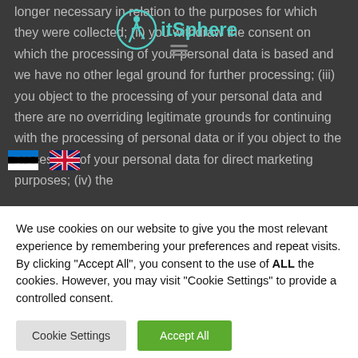[Figure (logo): FitSphere logo with teal circular figure icon and teal text]
longer necessary in relation to the purposes for which they were collected; (ii) you withdraw the consent on which the processing of your personal data is based and we have no other legal ground for further processing; (iii) you object to the processing of your personal data and there are no overriding legitimate grounds for continuing with the processing of personal data or if you object to the processing of your personal data for direct marketing purposes; (iv) the
We use cookies on our website to give you the most relevant experience by remembering your preferences and repeat visits. By clicking "Accept All", you consent to the use of ALL the cookies. However, you may visit "Cookie Settings" to provide a controlled consent.